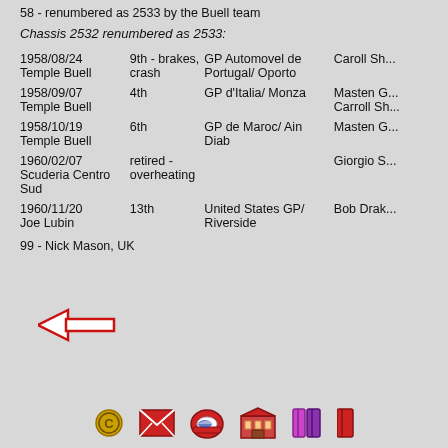58 - renumbered as 2533 by the Buell team
Chassis 2532 renumbered as 2533:
| Date / Owner | Result | Race / Location | Driver |
| --- | --- | --- | --- |
| 1958/08/24 Temple Buell | 9th - brakes, crash | GP Automovel de Portugal/ Oporto | Caroll Sh... |
| 1958/09/07 Temple Buell | 4th | GP d'Italia/ Monza | Masten G... Carroll Sh... |
| 1958/10/19 Temple Buell | 6th | GP de Maroc/ Ain Diab | Masten G... |
| 1960/02/07 Scuderia Centro Sud | retired - overheating |  | Giorgio S... |
| 1960/11/20 Joe Lubin | 13th | United States GP/ Riverside | Bob Drak... |
99 - Nick Mason, UK
[Figure (other): Back navigation arrow (red outlined left-pointing arrow)]
[Figure (other): Footer icons: copyright symbol, envelope/mail, racing helmet, building/museum, books, and another icon]